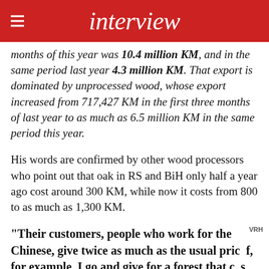interview
months of this year was 10.4 million KM, and in the same period last year 4.3 million KM. That export is dominated by unprocessed wood, whose export increased from 717,427 KM in the first three months of last year to as much as 6.5 million KM in the same period this year.
His words are confirmed by other wood processors who point out that oak in RS and BiH only half a year ago cost around 300 KM, while now it costs from 800 to as much as 1,300 KM.
“Their customers, people who work for the Chinese, give twice as much as the usual price, if, for example, I go and give for a forest that costs